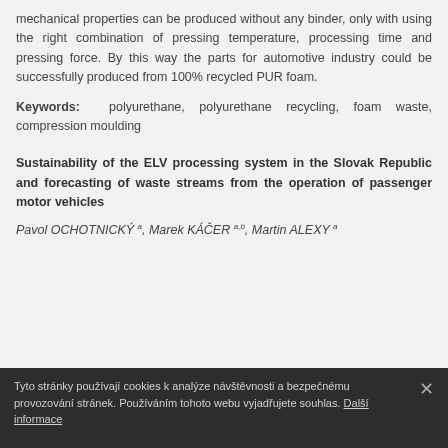mechanical properties can be produced without any binder, only with using the right combination of pressing temperature, processing time and pressing force. By this way the parts for automotive industry could be successfully produced from 100% recycled PUR foam.
Keywords: polyurethane, polyurethane recycling, foam waste, compression moulding
Sustainability of the ELV processing system in the Slovak Republic and forecasting of waste streams from the operation of passenger motor vehicles
Pavol OCHOTNICKÝ a, Marek KÁČER a,b, Martin ALEXY a
Tyto stránky používají cookies k analýze návštěvnosti a bezpečnému provozování stránek. Používáním tohoto webu vyjadřujete souhlas. Další informace ×